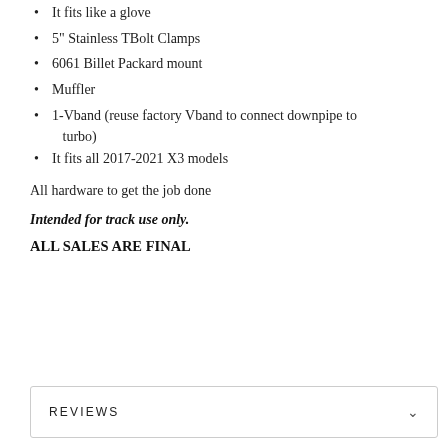It fits like a glove
5" Stainless TBolt Clamps
6061 Billet Packard mount
Muffler
1-Vband (reuse factory Vband to connect downpipe to turbo)
It fits all 2017-2021 X3 models
All hardware to get the job done
Intended for track use only.
ALL SALES ARE FINAL
REVIEWS